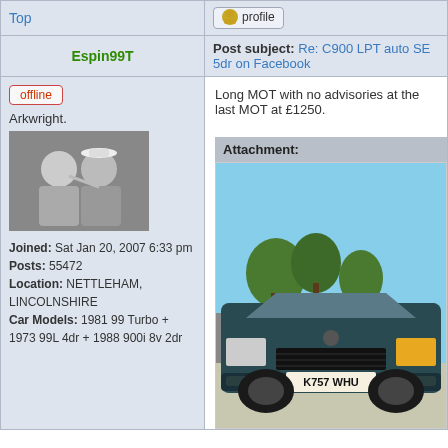| Top | profile |
| --- | --- |
Espin99T
Post subject: Re: C900 LPT auto SE 5dr on Facebook
offline
Arkwright.
[Figure (photo): Black and white photo of two men, one in a sailor hat]
Joined: Sat Jan 20, 2007 6:33 pm
Posts: 55472
Location: NETTLEHAM, LINCOLNSHIRE
Car Models: 1981 99 Turbo + 1973 99L 4dr + 1988 900i 8v 2dr
Long MOT with no advisories at the last MOT at £1250.
Attachment:
[Figure (photo): Front view of a dark green/teal Saab 900 car with license plate K757 WHU parked in a sunny lot with trees in background]